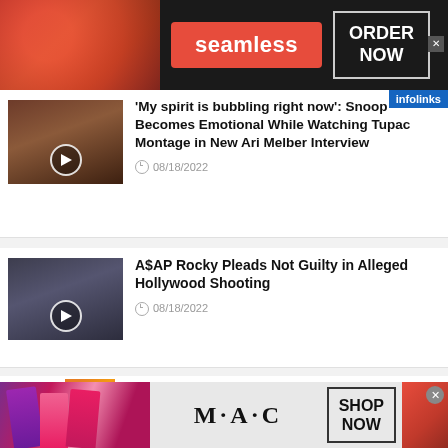[Figure (screenshot): Seamless food delivery ad banner with food image on left, red Seamless button, and ORDER NOW box on dark background]
infolinks
'My spirit is bubbling right now': Snoop Becomes Emotional While Watching Tupac Montage in New Ari Melber Interview
08/18/2022
A$AP Rocky Pleads Not Guilty in Alleged Hollywood Shooting
08/18/2022
DO IT BIG: 5-Year-Old Kash Mania Gives His
[Figure (screenshot): MAC cosmetics ad banner with lipsticks on dark background, MAC logo, and SHOP NOW box]